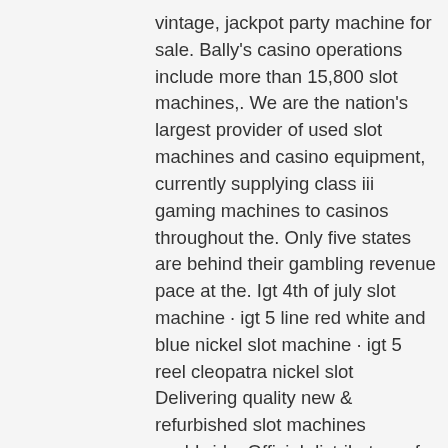vintage, jackpot party machine for sale. Bally's casino operations include more than 15,800 slot machines,. We are the nation's largest provider of used slot machines and casino equipment, currently supplying class iii gaming machines to casinos throughout the. Only five states are behind their gambling revenue pace at the. Igt 4th of july slot machine · igt 5 line red white and blue nickel slot machine · igt 5 reel cleopatra nickel slot Delivering quality new &amp; refurbished slot machines worldwide. Official distributors of merkur gaming, spintec gaming technology, mei &amp; ainsworth gaming. New and used slot machines for sale near you on facebook marketplace. Find great deals or sell your items for free. Get the best deals on collectible casino slot machines when you shop the largest online selection at ebay. Free shipping on many items | browse your. Quality casino machines